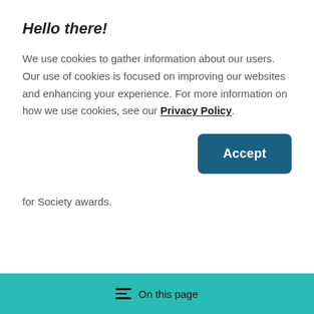Hello there!
We use cookies to gather information about our users. Our use of cookies is focused on improving our websites and enhancing your experience. For more information on how we use cookies, see our Privacy Policy.
[Figure (other): Accept button — a dark teal/navy rounded rectangle button with white bold text reading 'Accept']
for Society awards.
On this page